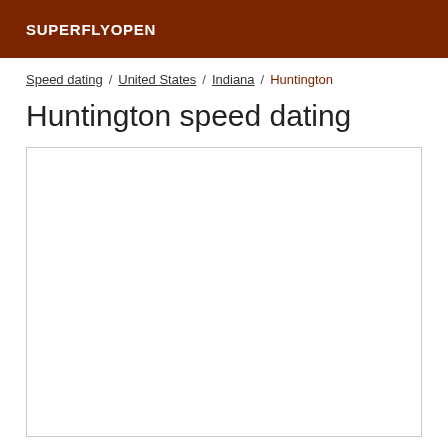SUPERFLYOPEN
Speed dating / United States / Indiana / Huntington
Huntington speed dating
[Figure (map): Empty map area with border, content not loaded]